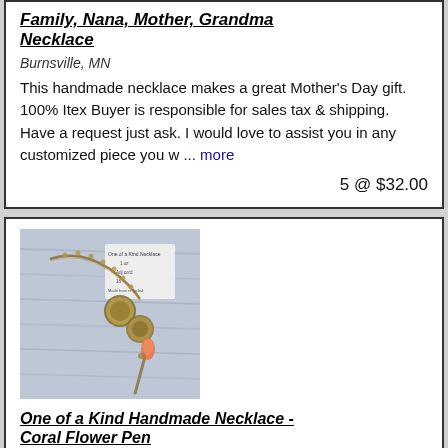Family, Nana, Mother, Grandma Necklace
Burnsville, MN
This handmade necklace makes a great Mother's Day gift. 100% Itex Buyer is responsible for sales tax & shipping. Have a request just ask. I would love to assist you in any customized piece you w ... more
5 @ $32.00
[Figure (photo): Photo of a handmade necklace with chain and pendant on a wooden background with a card label reading One of a Kind Necklace]
One of a Kind Handmade Necklace - Coral Flower Pen
Burnsville, MN